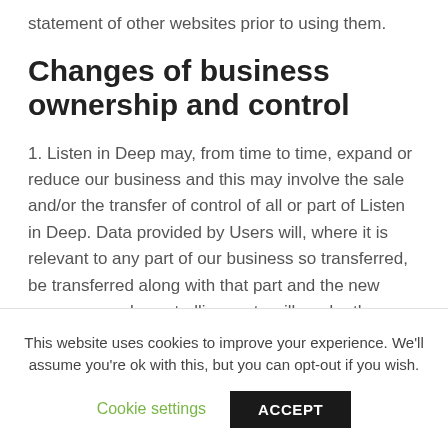statement of other websites prior to using them.
Changes of business ownership and control
1. Listen in Deep may, from time to time, expand or reduce our business and this may involve the sale and/or the transfer of control of all or part of Listen in Deep. Data provided by Users will, where it is relevant to any part of our business so transferred, be transferred along with that part and the new owner or newly controlling party will, under the terms of this privacy policy, be
This website uses cookies to improve your experience. We'll assume you're ok with this, but you can opt-out if you wish.
Cookie settings
ACCEPT